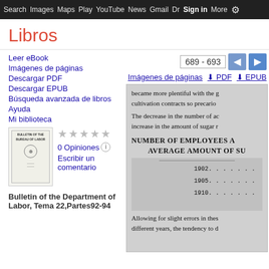Search  Images  Maps  Play  YouTube  News  Gmail  Drive  More  Sign in  ⚙
Libros
689 - 693
Imágenes de páginas   ⬇ PDF   ⬇ EPUB
Leer eBook
Imágenes de páginas
Descargar PDF
Descargar EPUB
Búsqueda avanzada de libros
Ayuda
Mi biblioteca
0 Opiniones
Escribir un comentario
Bulletin of the Department of Labor, Tema 22,Partes92-94
became more plentiful with the g cultivation contracts so precario The decrease in the number of ac increase in the amount of sugar r
NUMBER OF EMPLOYEES A
AVERAGE AMOUNT OF SU
1902......
1905......
1910......
Allowing for slight errors in thes different years, the tendency to d